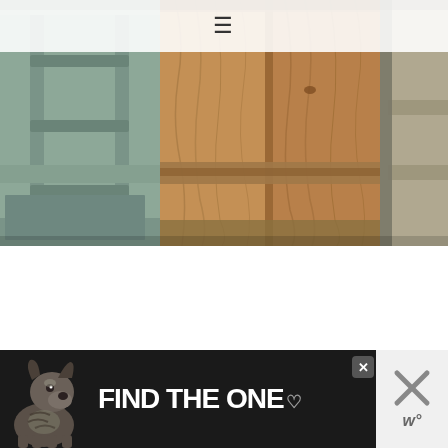≡ (hamburger menu)
[Figure (photo): Interior of a wooden chicken coop showing a ladder/ramp on the left side made of light gray weathered wood with horizontal rungs, and plywood walls with wood grain visible. The structure appears to be an elevated coop with roosting bars.]
[Figure (screenshot): UI overlay showing a heart (favorite) button in teal/blue circle, a share button with plus icon, and a 'WHAT'S NEXT' panel showing 'Spring Chicken Co...' with a thumbnail image of people.]
[Figure (photo): Advertisement banner with dark background showing a brindle dog (boxer/pit bull mix) on the left and bold white text reading 'FIND THE ONE' with a heart icon. Right side shows an X close button and what appears to a Wag logo.]